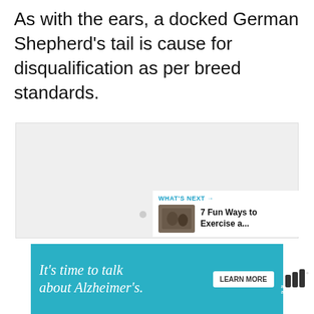As with the ears, a docked German Shepherd's tail is cause for disqualification as per breed standards.
[Figure (other): Light grey placeholder image area with three navigation dots at the bottom. A circular teal heart/favorite button and a circular white share button overlaid on the right side. A 'What's Next' panel shows a thumbnail and text '7 Fun Ways to Exercise a...']
[Figure (other): Advertisement banner for Alzheimer's Association: teal background with text 'It's time to talk about Alzheimer's.' in white italic, a 'LEARN MORE' button, the Alzheimer's Association logo, and a close button.]